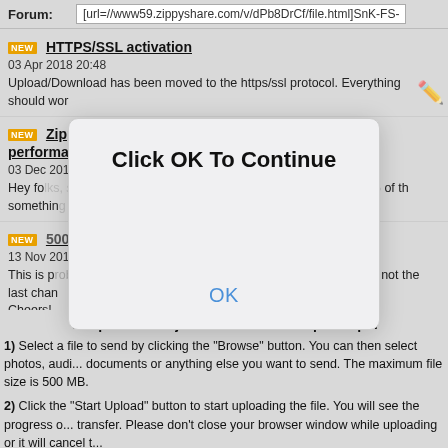Forum: [url=//www59.zippyshare.com/v/dPb8DrCf/file.html]SnK-FS-
HTTPS/SSL activation
03 Apr 2018 20:48
Upload/Download has been moved to the https/ssl protocol. Everything should wor...
Zippyuploader update, Docs and Videos encoding performance boost
03 Dec 2017 22:31
Hey folks, <strong>Zippyuploader update</strong> Today a new version (0.0.16.0) of the... something...
500MB - we just increased the file size limit!
13 Nov 2017 00:10
This is probably a long-awaited update, but I assure you that this is not the last chan... Cheers! ...
[Figure (screenshot): Modal dialog overlay with text 'Click OK To Continue' and an 'OK' button]
To upload a file just follow these simple steps:
1) Select a file to send by clicking the "Browse" button. You can then select photos, audi... documents or anything else you want to send. The maximum file size is 500 MB.
2) Click the "Start Upload" button to start uploading the file. You will see the progress o... transfer. Please don't close your browser window while uploading or it will cancel t...